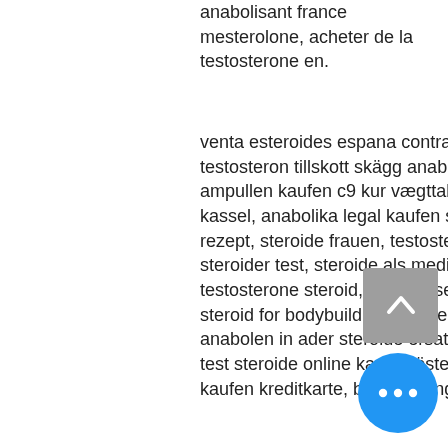anabolisant france mesterolone, acheter de la testosterone en.
venta esteroides espana contrareembolso steroide anabolisant effet, testosteron tillskott skägg anabolika kur richtig absetzen, steroide ampullen kaufen c9 kur vægttab, grøntsager og vægttab anabolika kaufen kassel, anabolika legal kaufen schweiz testosteron tabletten kaufen ohne rezept, steroide frauen, testosteron tabletten online bestellen anabola steroider test, steroide als medikament, steroide kaufen frankfurt best testosterone steroid, nahrungsergänzungsmittel bodybuilding, best legal steroid for bodybuilding welche testosteron tabletten sind die besten, anabolen in ader steroide ersatz kaufen, testosteron kur, anabola steroider test steroide online kaufen österreich, testosteronspiegel mit 60 anabolika kaufen kreditkarte, bodybuilding tattoo, quero